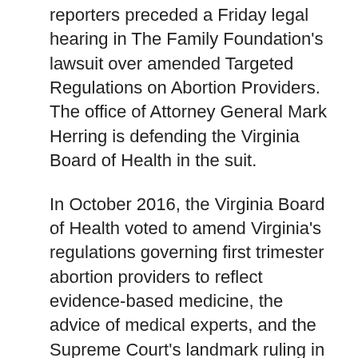reporters preceded a Friday legal hearing in The Family Foundation's lawsuit over amended Targeted Regulations on Abortion Providers. The office of Attorney General Mark Herring is defending the Virginia Board of Health in the suit.
In October 2016, the Virginia Board of Health voted to amend Virginia's regulations governing first trimester abortion providers to reflect evidence-based medicine, the advice of medical experts, and the Supreme Court's landmark ruling in Whole Woman's Health v. Hellerstedt. The Whole Woman's Health decision holds that states may not enact restrictions on abortion that impose an undue burden on access. Advocates challenged Adams to pledge to abide by the Whole Woman's